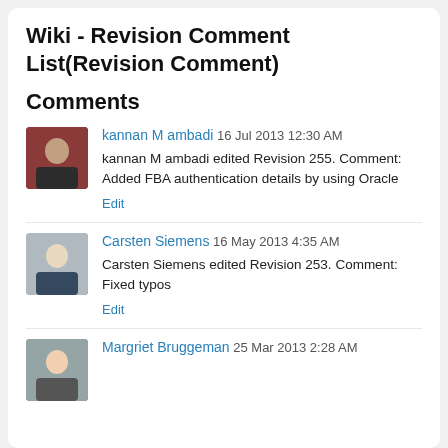Wiki - Revision Comment List(Revision Comment)
Comments
kannan M ambadi 16 Jul 2013 12:30 AM
kannan M ambadi edited Revision 255. Comment: Added FBA authentication details by using Oracle
Edit
Carsten Siemens 16 May 2013 4:35 AM
Carsten Siemens edited Revision 253. Comment: Fixed typos
Edit
Margriet Bruggeman 25 Mar 2013 2:28 AM